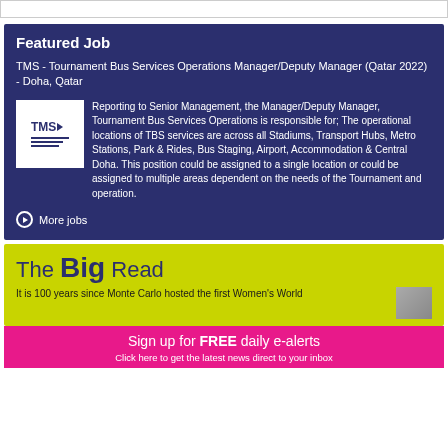Featured Job
TMS - Tournament Bus Services Operations Manager/Deputy Manager (Qatar 2022) - Doha, Qatar
Reporting to Senior Management, the Manager/Deputy Manager, Tournament Bus Services Operations is responsible for; The operational locations of TBS services are across all Stadiums, Transport Hubs, Metro Stations, Park & Rides, Bus Staging, Airport, Accommodation & Central Doha. This position could be assigned to a single location or could be assigned to multiple areas dependent on the needs of the Tournament and operation.
More jobs
The Big Read
It is 100 years since Monte Carlo hosted the first Women's World
Sign up for FREE daily e-alerts
Click here to get the latest news direct to your inbox